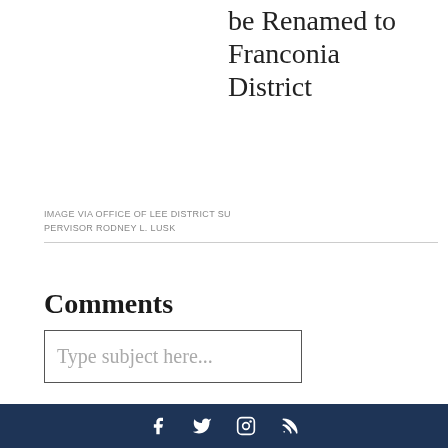be Renamed to Franconia District
IMAGE VIA OFFICE OF LEE DISTRICT SUPERVISOR RODNEY L. LUSK
Comments
Type subject here...
Social media icons: Facebook, Twitter, Instagram, RSS